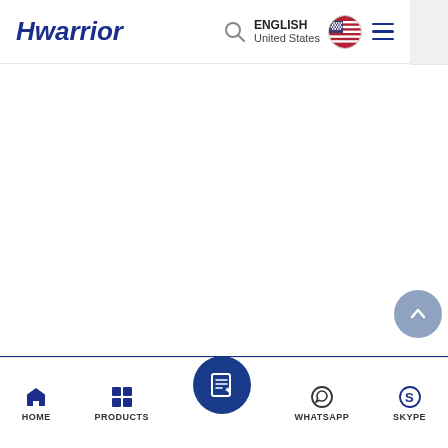Hwarrior — ENGLISH United States
[Figure (screenshot): White main content area, mostly blank]
HOME | PRODUCTS | [contact/inquiry] | WHATSAPP | SKYPE